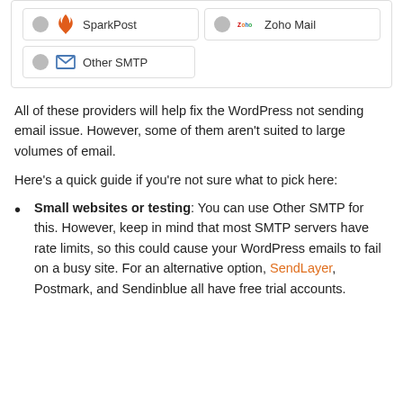[Figure (screenshot): UI card showing SMTP provider options: SparkPost (with flame icon), Zoho Mail (with Zoho logo), and Other SMTP (with envelope icon), each with a radio button circle.]
All of these providers will help fix the WordPress not sending email issue. However, some of them aren't suited to large volumes of email.
Here's a quick guide if you're not sure what to pick here:
Small websites or testing: You can use Other SMTP for this. However, keep in mind that most SMTP servers have rate limits, so this could cause your WordPress emails to fail on a busy site. For an alternative option, SendLayer, Postmark, and Sendinblue all have free trial accounts.